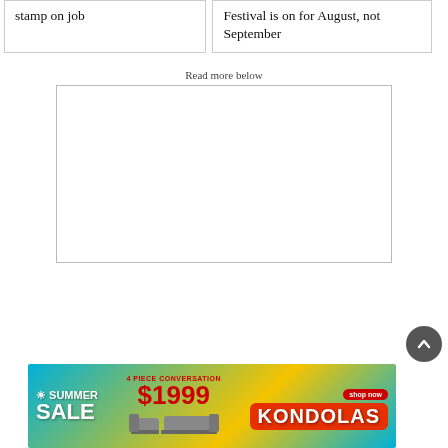stamp on job
Festival is on for August, not September
Read more below
[Figure (other): Empty white advertisement placeholder box with border]
[Figure (other): Kondolas furniture banner advertisement showing summer sale 4-piece conversation set $1999]
[Figure (other): Dark grey circular scroll-to-top button with upward chevron arrow]